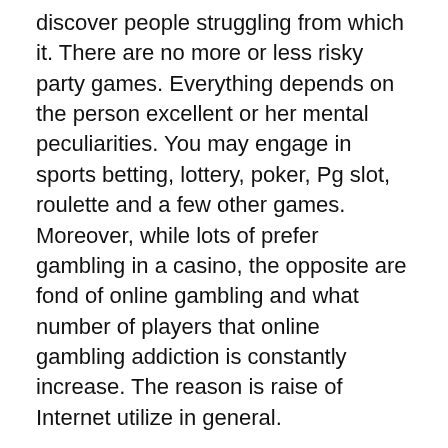discover people struggling from which it. There are no more or less risky party games. Everything depends on the person excellent or her mental peculiarities. You may engage in sports betting, lottery, poker, Pg slot, roulette and a few other games. Moreover, while lots of prefer gambling in a casino, the opposite are fond of online gambling and what number of players that online gambling addiction is constantly increase. The reason is raise of Internet utilize in general.
Seek out a Gamblers Anonymous group in region. Group support is important when you looking for ways end gambling. Gambling problems help can be discovered in organizations related to gambling addiction, and this is invaluable you.